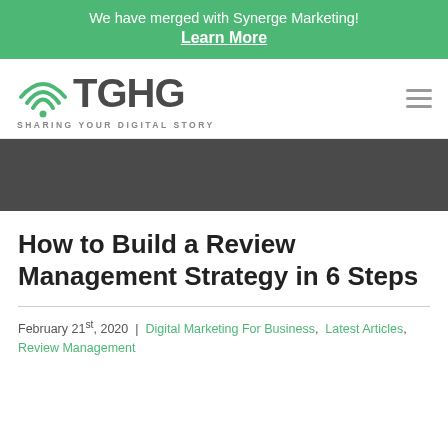We have merged with Synerge Marketing! Learn More
[Figure (logo): TGHG logo with WiFi arc icon and tagline SHARING YOUR DIGITAL STORY]
[Figure (photo): Dark grey hero band / background image area]
How to Build a Review Management Strategy in 6 Steps
February 21st, 2020 | Digital Marketing For Business, Latest Articles, Review Management